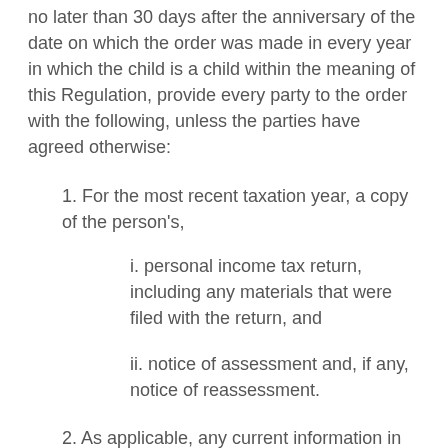no later than 30 days after the anniversary of the date on which the order was made in every year in which the child is a child within the meaning of this Regulation, provide every party to the order with the following, unless the parties have agreed otherwise:
1. For the most recent taxation year, a copy of the person's,
i. personal income tax return, including any materials that were filed with the return, and
ii. notice of assessment and, if any, notice of reassessment.
2. As applicable, any current information in